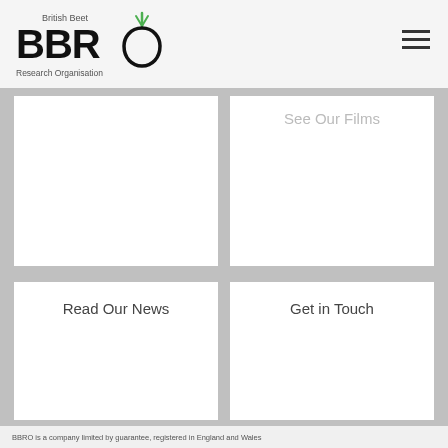[Figure (logo): British Beet BBRO Research Organisation logo with green beet icon]
See Our Films
Read Our News
Get in Touch
BBRO is a company limited by guarantee, registered in England and Wales